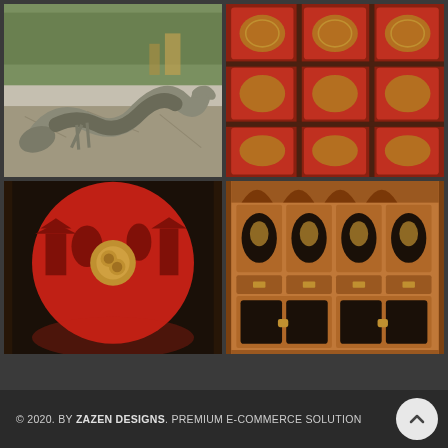[Figure (photo): Top-left: Dragon sculpture lying on pavement outdoors, stone/bronze finish, surrounded by trees and equipment in background]
[Figure (photo): Top-right: Close-up of ornate Chinese cabinet with carved red and gold panels in a grid pattern, floral and decorative motifs]
[Figure (photo): Bottom-left: Chinese lacquered cabinet with large red circular painted panel depicting a landscape scene with pagodas, black background, gold circular lock hardware]
[Figure (photo): Bottom-right: Ornate Chinese wooden cabinet with multiple doors featuring oval black lacquer painted panels with gold floral artwork, warm brown wood frame, brass hardware]
© 2020. BY ZAZEN DESIGNS. PREMIUM E-COMMERCE SOLUTION